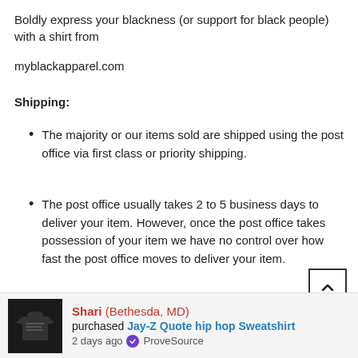Boldly express your blackness (or support for black people) with a shirt from
myblackapparel.com
Shipping:
The majority or our items sold are shipped using the post office via first class or priority shipping.
The post office usually takes 2 to 5 business days to deliver your item. However, once the post office takes possession of your item we have no control over how fast the post office moves to deliver your item.
Shari (Bethesda, MD) purchased Jay-Z Quote hip hop Sweatshirt 2 days ago ProveSource